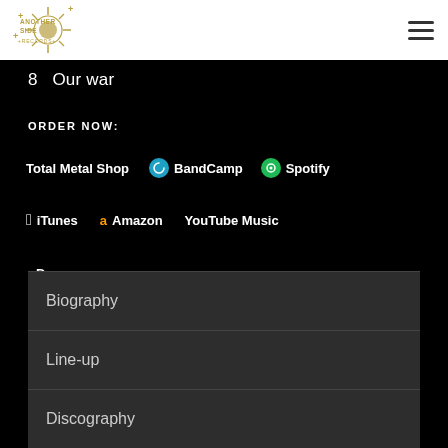[Figure (logo): Another Side Records logo - golden sun/ornate design with text]
8   Our war
ORDER NOW:
Total Metal Shop
BandCamp
Spotify
iTunes
Amazon
YouTube Music
Deezer
Biography
Line-up
Discography